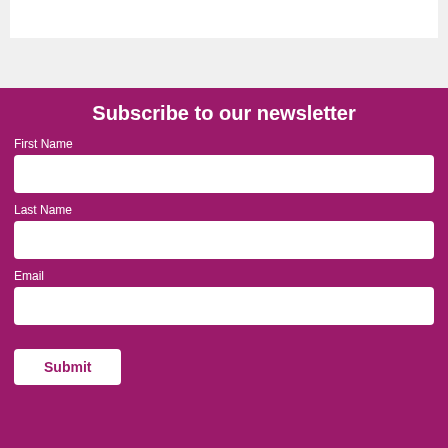[Figure (screenshot): Top gray section with a white bar element at the top]
Subscribe to our newsletter
First Name
Last Name
Email
Submit